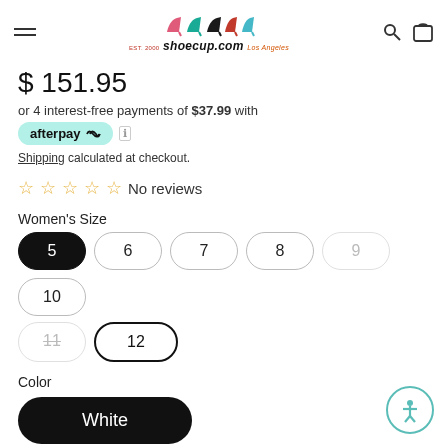shoecup.com | EST. 2000 | Los Angeles
$ 151.95
or 4 interest-free payments of $37.99 with afterpay
Shipping calculated at checkout.
☆ ☆ ☆ ☆ ☆ No reviews
Women's Size
Sizes: 5 (selected), 6, 7, 8, 9 (unavailable), 10, 11 (unavailable), 12
Color
White